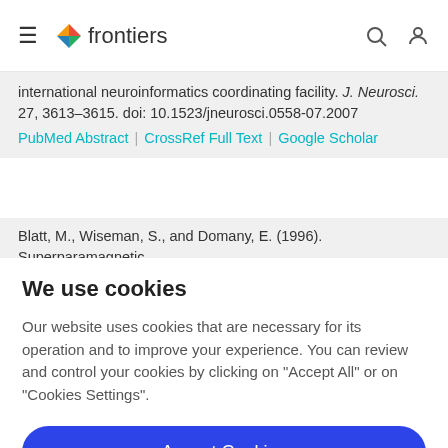frontiers
international neuroinformatics coordinating facility. J. Neurosci. 27, 3613–3615. doi: 10.1523/jneurosci.0558-07.2007
PubMed Abstract | CrossRef Full Text | Google Scholar
Blatt, M., Wiseman, S., and Domany, E. (1996). Superparamagnetic
We use cookies
Our website uses cookies that are necessary for its operation and to improve your experience. You can review and control your cookies by clicking on "Accept All" or on "Cookies Settings".
Accept Cookies
Cookies Settings